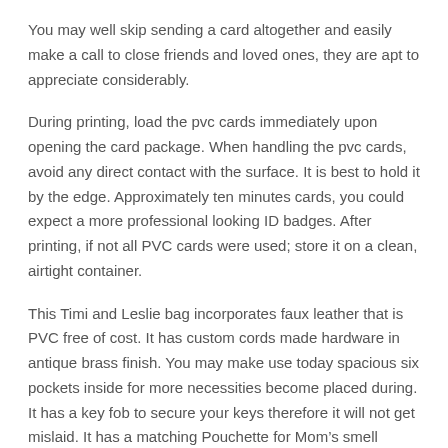You may well skip sending a card altogether and easily make a call to close friends and loved ones, they are apt to appreciate considerably.
During printing, load the pvc cards immediately upon opening the card package. When handling the pvc cards, avoid any direct contact with the surface. It is best to hold it by the edge. Approximately ten minutes cards, you could expect a more professional looking ID badges. After printing, if not all PVC cards were used; store it on a clean, airtight container.
This Timi and Leslie bag incorporates faux leather that is PVC free of cost. It has custom cords made hardware in antique brass finish. You may make use today spacious six pockets inside for more necessities become placed during. It has a key fob to secure your keys therefore it will not get mislaid. It has a matching Pouchette for Mom’s smell things because cell phones, credit cards, make ups, and additional. credenciais